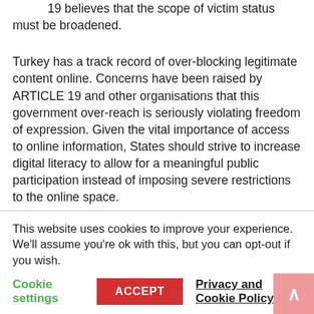19 believes that the scope of victim status must be broadened.
Turkey has a track record of over-blocking legitimate content online. Concerns have been raised by ARTICLE 19 and other organisations that this government over-reach is seriously violating freedom of expression. Given the vital importance of access to online information, States should strive to increase digital literacy to allow for a meaningful public participation instead of imposing severe restrictions to the online space.
This website uses cookies to improve your experience. We'll assume you're ok with this, but you can opt-out if you wish.
Cookie settings | ACCEPT | Privacy and Cookie Policy